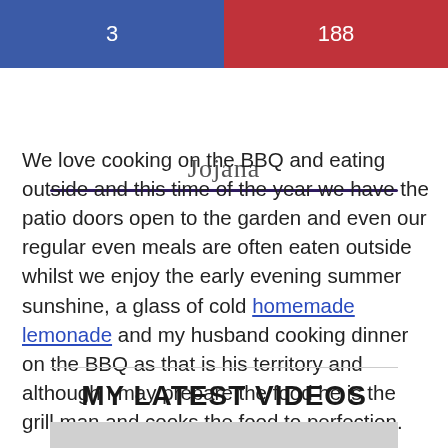3   188
[Figure (logo): Cursive script logo with dark purple underline]
We love cooking on the BBQ and eating outside and this time of the year we have the patio doors open to the garden and even our regular even meals are often eaten outside whilst we enjoy the early evening summer sunshine, a glass of cold homemade lemonade and my husband cooking dinner on the BBQ as that is his territory and although I may prepare the food he is the grill man and cooks the food to perfection.
MY LATEST VIDEOS
[Figure (screenshot): Video thumbnail placeholder (grey box)]